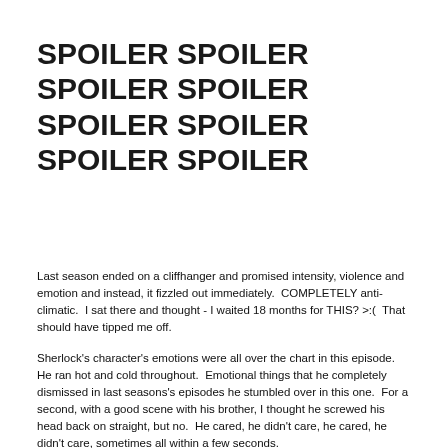SPOILER SPOILER SPOILER SPOILER SPOILER SPOILER SPOILER SPOILER
Last season ended on a cliffhanger and promised intensity, violence and emotion and instead, it fizzled out immediately.  COMPLETELY anti-climatic.  I sat there and thought - I waited 18 months for THIS? >:(  That should have tipped me off.
Sherlock's character's emotions were all over the chart in this episode.  He ran hot and cold throughout.  Emotional things that he completely dismissed in last seasons's episodes he stumbled over in this one.  For a second, with a good scene with his brother, I thought he screwed his head back on straight, but no.  He cared, he didn't care, he cared, he didn't care, sometimes all within a few seconds.